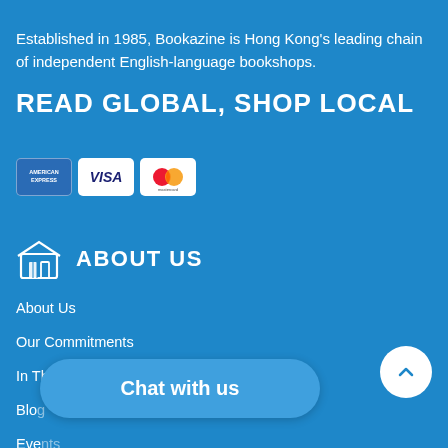Established in 1985, Bookazine is Hong Kong's leading chain of independent English-language bookshops.
READ GLOBAL, SHOP LOCAL
[Figure (logo): Payment method icons: American Express, Visa, Mastercard]
ABOUT US
About Us
Our Commitments
In The Press
Blog
Events
Our Team
Chat with us